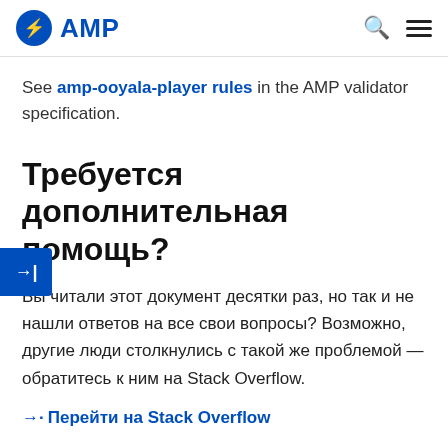AMP
See amp-ooyala-player rules in the AMP validator specification.
Требуется дополнительная помощь?
Вы читали этот документ десятки раз, но так и не нашли ответов на все свои вопросы? Возможно, другие люди столкнулись с такой же проблемой — обратитесь к ним на Stack Overflow.
→· Перейти на Stack Overflow